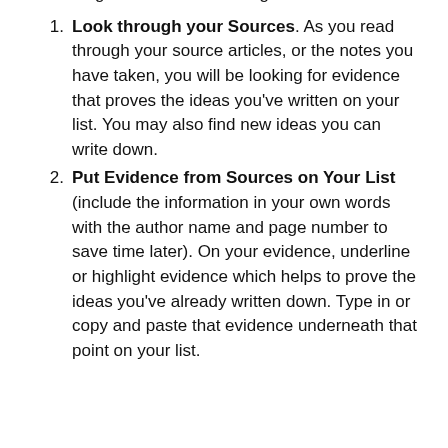arguments from those against immunisation
Look through your Sources. As you read through your source articles, or the notes you have taken, you will be looking for evidence that proves the ideas you’ve written on your list. You may also find new ideas you can write down.
Put Evidence from Sources on Your List (include the information in your own words with the author name and page number to save time later). On your evidence, underline or highlight evidence which helps to prove the ideas you’ve already written down. Type in or copy and paste that evidence underneath that point on your list.